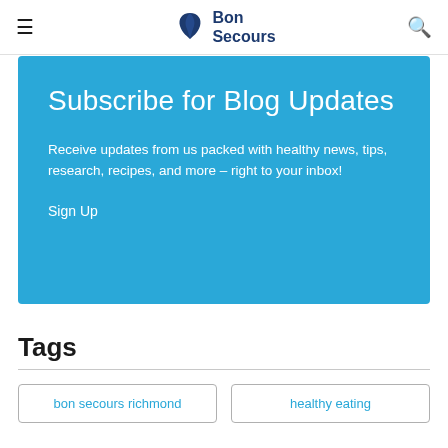Bon Secours
Subscribe for Blog Updates
Receive updates from us packed with healthy news, tips, research, recipes, and more – right to your inbox!
Sign Up
Tags
bon secours richmond
healthy eating